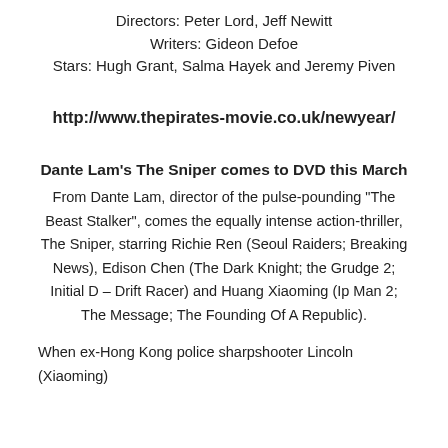Directors: Peter Lord, Jeff Newitt
Writers: Gideon Defoe
Stars: Hugh Grant, Salma Hayek and Jeremy Piven
http://www.thepirates-movie.co.uk/newyear/
Dante Lam’s The Sniper comes to DVD this March
From Dante Lam, director of the pulse-pounding “The Beast Stalker”, comes the equally intense action-thriller, The Sniper, starring Richie Ren (Seoul Raiders; Breaking News), Edison Chen (The Dark Knight; the Grudge 2; Initial D – Drift Racer) and Huang Xiaoming (Ip Man 2; The Message; The Founding Of A Republic).
When ex-Hong Kong police sharpshooter Lincoln (Xiaoming)